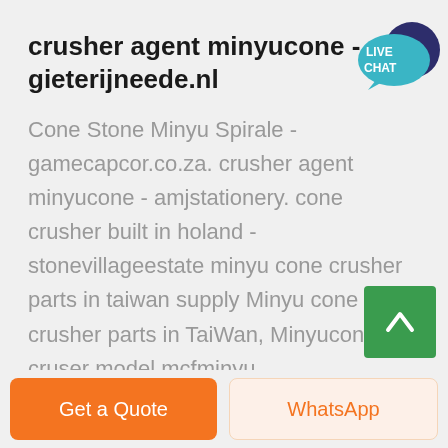crusher agent minyucone - gieterijneede.nl
[Figure (illustration): Live Chat speech bubble icon in teal/dark blue colors with text LIVE CHAT]
Cone Stone Minyu Spirale - gamecapcor.co.za. crusher agent minyucone - amjstationery. cone crusher built in holand - stonevillageestate minyu cone crusher parts in taiwan supply Minyu cone crusher parts in TaiWan, Minyucone cruser model mcfminyu
[Figure (illustration): Green square button with white upward arrow (scroll to top button)]
Get a Quote
WhatsApp